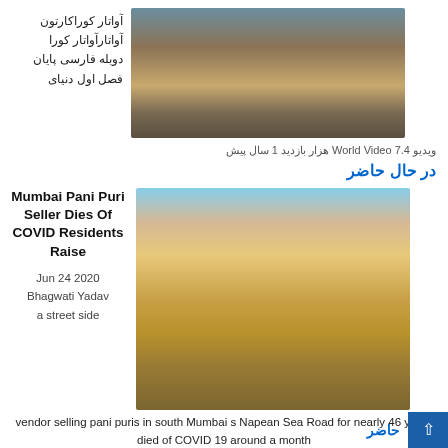آواتار کوراکارتون آواتارآواتار کورا دوبله فارسی پایان فصل اول دنیای
[Figure (photo): Mining or quarrying site with conveyor belts, machinery, and a worker in red visible in the background]
ویدیو World Video 7.4 هزار بازدید 1 سال پیش
در حال حاضر
Mumbai Pani Puri Seller Dies Of COVID Residents Raise
Jun 24 2020
Bhagwati Yadav
a street side
[Figure (photo): Large yellow industrial mining plant with conveyor belts, crushers, and heavy machinery in an outdoor setting]
vendor selling pani puris in south Mumbai s Napean Sea Road for nearly 46 years died of COVID 19 around a month
حاضر